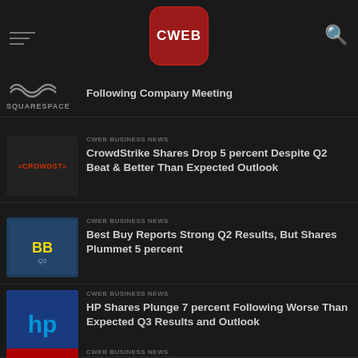CWEB
Following Company Meeting
CWEB BUSINESS NEWS
CrowdStrike Shares Drop 5 percent Despite Q2 Beat & Better Than Expected Outlook
CWEB BUSINESS NEWS
Best Buy Reports Strong Q2 Results, But Shares Plummet 5 percent
CWEB BUSINESS NEWS
HP Shares Plunge 7 percent Following Worse Than Expected Q3 Results and Outlook
CWEB BUSINESS NEWS
American Woodmark Shares Up 10 percent on Q1 Revenue Beat, Guidance is Weak